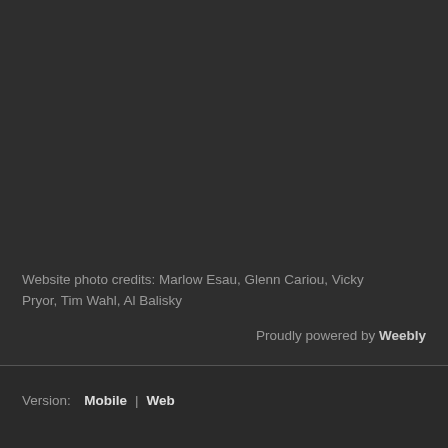Website photo credits:  Marlow Esau, Glenn Cariou, Vicky Pryor, Tim Wahl, Al Balisky
Proudly powered by Weebly
Version:  Mobile  |  Web